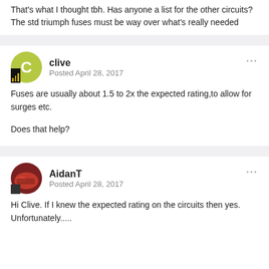That's what I thought tbh. Has anyone a list for the other circuits? The std triumph fuses must be way over what's really needed
clive
Posted April 28, 2017
Fuses are usually about 1.5 to 2x the expected rating,to allow for surges etc.
Does that help?
AidanT
Posted April 28, 2017
Hi Clive. If I knew the expected rating on the circuits then yes. Unfortunately.....